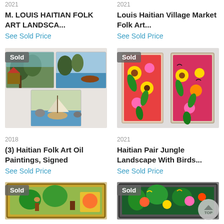2021
M. LOUIS HAITIAN FOLK ART LANDSCA...
See Sold Price
2021
Louis Haitian Village Market Folk Art...
See Sold Price
[Figure (photo): Three Haitian folk art oil paintings displayed together, showing landscapes with boats and trees, with a 'Sold' badge]
[Figure (photo): Haitian pair jungle landscape with birds paintings in frames, colorful floral/bird designs, with a 'Sold' badge]
2018
(3) Haitian Folk Art Oil Paintings, Signed
See Sold Price
2021
Haitian Pair Jungle Landscape With Birds...
See Sold Price
[Figure (photo): Haitian folk art painting with 'Sold' badge, colorful scene]
[Figure (photo): Haitian folk art painting in dark frame with 'Sold' badge, colorful tropical scene]